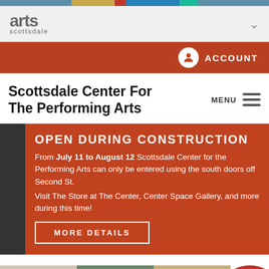[Figure (screenshot): Decorative color bar at top of webpage]
arts scottsdale
ACCOUNT
Scottsdale Center For The Performing Arts
OPEN DURING CONSTRUCTION
From July 11 to August 12 Scottsdale Center for the Performing Arts can only be entered using the south doors off Second St.
Visit The Store at The Center, Center Space Gallery, and more during this time!
MORE DETAILS